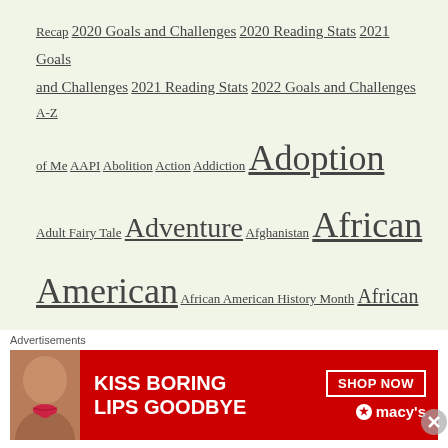Recap 2020 Goals and Challenges 2020 Reading Stats 2021 Goals and Challenges 2021 Reading Stats 2022 Goals and Challenges A-Z of Me AAPI Abolition Action Addiction Adoption Adult Fairy Tale Adventure Afghanistan African American African American History Month African Culture Against the odds Ambition American Revolution Amish AMonthofFaves Ancestry Animal Rescue Apartheid Appalachia Archeology Army Art Asian Asian American Australia Author Event Autism Awards Bali Baseball Best of 2020 Best of 2021 Best of the
[Figure (infographic): Advertisement banner: 'KISS BORING LIPS GOODBYE' with SHOP NOW and macy's branding on red background with a woman's face/lips image]